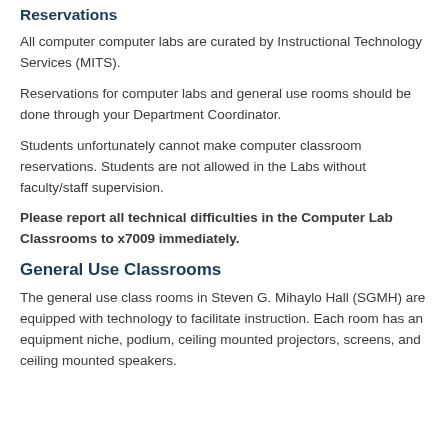Reservations
All computer computer labs are curated by Instructional Technology Services (MITS).
Reservations for computer labs and general use rooms should be done through your Department Coordinator.
Students unfortunately cannot make computer classroom reservations. Students are not allowed in the Labs without faculty/staff supervision.
Please report all technical difficulties in the Computer Lab Classrooms to x7009 immediately.
General Use Classrooms
The general use class rooms in Steven G. Mihaylo Hall (SGMH) are equipped with technology to facilitate instruction. Each room has an equipment niche, podium, ceiling mounted projectors, screens, and ceiling mounted speakers.